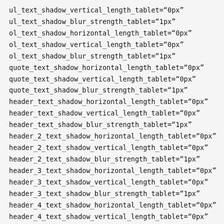ul_text_shadow_vertical_length_tablet="0px"
ul_text_shadow_blur_strength_tablet="1px"
ol_text_shadow_horizontal_length_tablet="0px"
ol_text_shadow_vertical_length_tablet="0px"
ol_text_shadow_blur_strength_tablet="1px"
quote_text_shadow_horizontal_length_tablet="0px"
quote_text_shadow_vertical_length_tablet="0px"
quote_text_shadow_blur_strength_tablet="1px"
header_text_shadow_horizontal_length_tablet="0px"
header_text_shadow_vertical_length_tablet="0px"
header_text_shadow_blur_strength_tablet="1px"
header_2_text_shadow_horizontal_length_tablet="0px"
header_2_text_shadow_vertical_length_tablet="0px"
header_2_text_shadow_blur_strength_tablet="1px"
header_3_text_shadow_horizontal_length_tablet="0px"
header_3_text_shadow_vertical_length_tablet="0px"
header_3_text_shadow_blur_strength_tablet="1px"
header_4_text_shadow_horizontal_length_tablet="0px"
header_4_text_shadow_vertical_length_tablet="0px"
header_4_text_shadow_blur_strength_tablet="1px"
header_5_text_shadow_horizontal_length_tablet="0px"
header_5_text_shadow_vertical_length_tablet="0px"